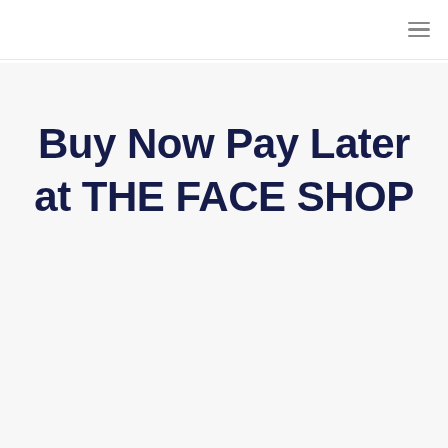Buy Now Pay Later at THE FACE SHOP